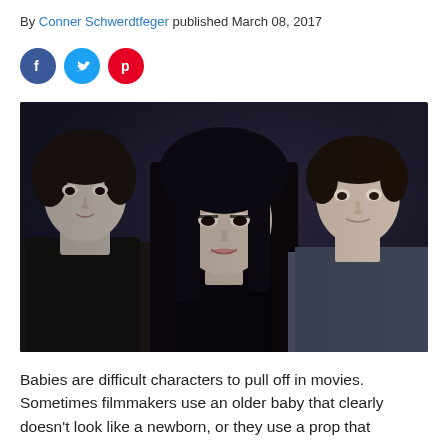By Conner Schwerdtfeger published March 08, 2017
[Figure (photo): Promotional photo from the Twilight movie series showing three young actors — a pale dark-haired male on the left, a woman with long dark hair in the center, and a young muscular male on the right — against a dark moody background.]
Babies are difficult characters to pull off in movies. Sometimes filmmakers use an older baby that clearly doesn't look like a newborn, or they use a prop that